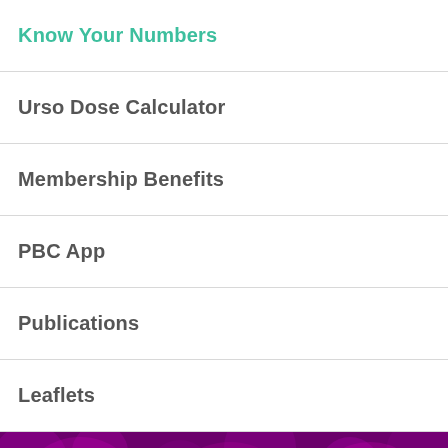Know Your Numbers
Urso Dose Calculator
Membership Benefits
PBC App
Publications
Leaflets
[Figure (photo): Purple/magenta background with microscopic cell imagery and bold white text reading 'You can make a difference by becoming a volunteer']
You can make a difference by becoming a volunteer